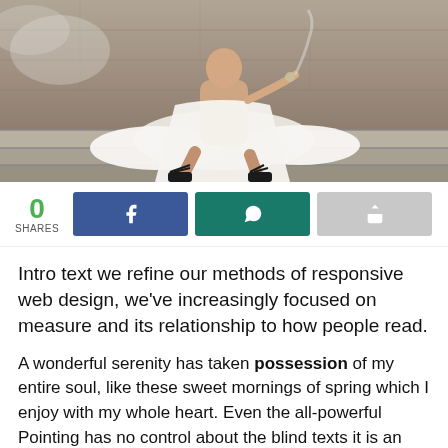[Figure (photo): A woman in a white wedding dress and black strappy heels sitting on stone steps, with smoke or mist visible in the background.]
0 SHARES
Intro text we refine our methods of responsive web design, we've increasingly focused on measure and its relationship to how people read.
A wonderful serenity has taken possession of my entire soul, like these sweet mornings of spring which I enjoy with my whole heart. Even the all-powerful Pointing has no control about the blind texts it is an almost unorthographic life One day however a small line of blind text by the name